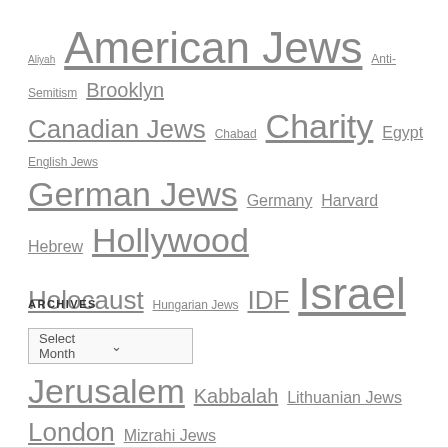Aliyah American Jews Anti-Semitism Brooklyn Canadian Jews Chabad Charity Egypt English Jews German Jews Germany Harvard Hebrew Hollywood Holocaust Hungarian Jews IDF Israel Israelis Jerusalem Kabbalah Lithuanian Jews London Mizrahi Jews Music New York Nobel Prize Orthodox Jews Paris Philanthropists Physics Polish Jews Rabbi Russian Jews Sephardic Jews Talmud Tel Aviv Torah Ukrainian Jews War of Independence World War I World War II Yeshiva Zionism Zionist
ARCHIVES